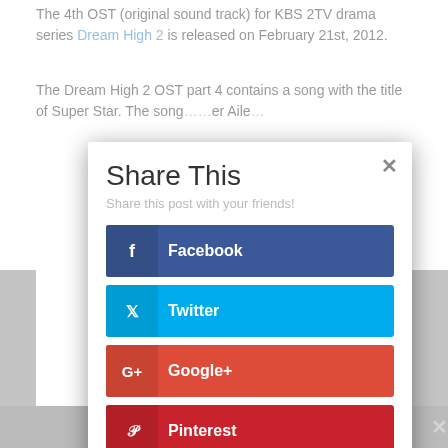The 4th OST (original sound track) for KBS 2TV drama series Dream High 2 is released on February 21st, 2012.
The Dream High 2 OST part 4 contains a song with the title of Super Star. The song... er Aile...
[Figure (screenshot): Share This modal dialog with social sharing buttons: Facebook, Twitter, Google+, Pinterest, reddit, LinkedIn]
Share This
Share this post with your friends!